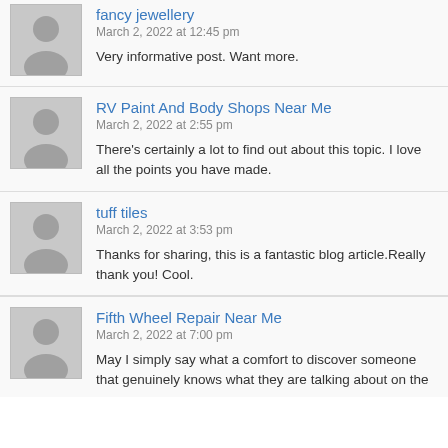fancy jewellery
March 2, 2022 at 12:45 pm
Very informative post. Want more.
RV Paint And Body Shops Near Me
March 2, 2022 at 2:55 pm
There's certainly a lot to find out about this topic. I love all the points you have made.
tuff tiles
March 2, 2022 at 3:53 pm
Thanks for sharing, this is a fantastic blog article.Really thank you! Cool.
Fifth Wheel Repair Near Me
March 2, 2022 at 7:00 pm
May I simply say what a comfort to discover someone that genuinely knows what they are talking about on the